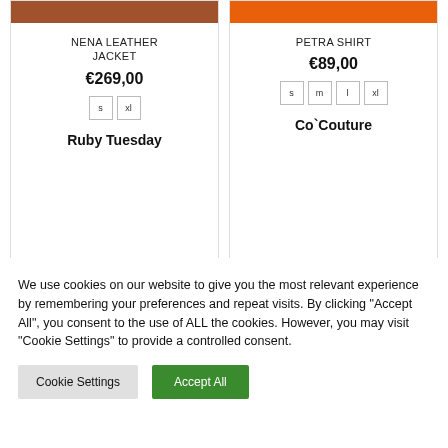NENA LEATHER JACKET
€269,00
Sizes: s, xl
Brand: Ruby Tuesday
PETRA SHIRT
€89,00
Sizes: s, m, l, xl
Brand: Co`Couture
[Figure (photo): Partial bottom view of two product cards showing fabric/item images]
We use cookies on our website to give you the most relevant experience by remembering your preferences and repeat visits. By clicking "Accept All", you consent to the use of ALL the cookies. However, you may visit "Cookie Settings" to provide a controlled consent.
Cookie Settings | Accept All